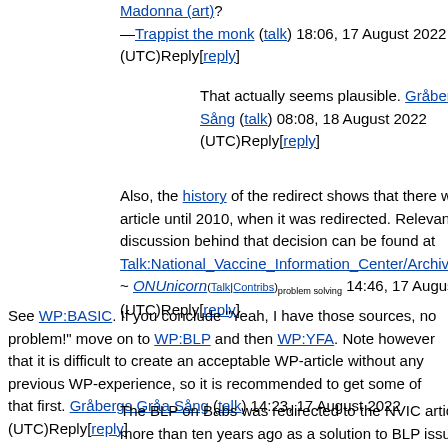Madonna (art)? —Trappist the monk (talk) 18:06, 17 August 2022 (UTC)Reply[reply]
That actually seems plausible. Gråbergs Gråa Sång (talk) 08:08, 18 August 2022 (UTC)Reply[reply]
Also, the history of the redirect shows that there was an article until 2010, when it was redirected. Relevant discussion behind that decision can be found at Talk:National_Vaccine_Information_Center/Archive_1# ~ ONUnicorn(Talk|Contribs)problem solving 14:46, 17 August 2022 (UTC)Reply[reply]
See WP:BASIC. If you conclude "Yeah, I have those sources, no problem!" move on to WP:BLP and then WP:YFA. Note however that it is difficult to create an acceptable WP-article without any previous WP-experience, so it is recommended to get some of that first. Gråbergs Gråa Sång (talk) 14:23, 17 August 2022 (UTC)Reply[reply]
The BLP on Babs was redirected to the NVIC article more than ten years ago as a solution to BLP issues. Babs is all about the NVIC, so much so that the only